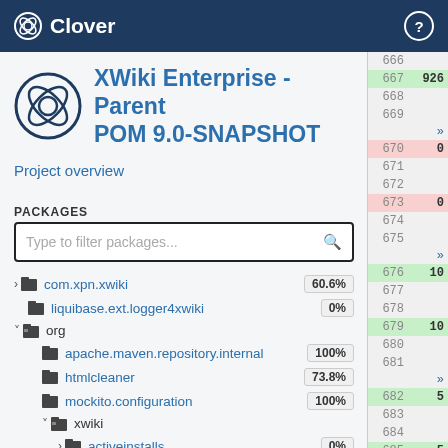Clover
XWiki Enterprise - Parent POM 9.0-SNAPSHOT
Project overview
PACKAGES
Type to filter packages...
> com.xpn.xwiki 60.6%
liquibase.ext.logger4xwiki 0%
v org
apache.maven.repository.internal 100%
htmlcleaner 73.8%
mockito.configuration 100%
v xwiki
> activeinstalls 0%
activitystream 34.8%
| line | value |
| --- | --- |
| 666 |  |
| 667 | 926 |
| 668 |  |
| 669 |  |
| » |  |
| 670 | 0 |
| 671 |  |
| 672 |  |
| 673 | 0 |
| 674 |  |
| 675 |  |
| » |  |
| 676 | 10 |
| 677 |  |
| 678 |  |
| 679 | 10 |
| 680 |  |
| 681 |  |
| » |  |
| 682 | 5 |
| 683 |  |
| 684 |  |
| 685 | 5 |
| 686 |  |